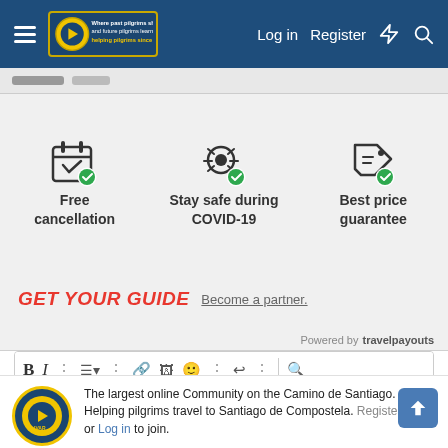Log in  Register
[Figure (infographic): Three feature icons: Free cancellation (calendar with checkmark), Stay safe during COVID-19 (bug/virus with checkmark), Best price guarantee (price tag with checkmark)]
[Figure (logo): GET YOUR GUIDE logo in red italic bold text, followed by 'Become a partner.' link]
Powered by travelpayouts
[Figure (screenshot): Text editor toolbar with Bold, Italic, and other formatting buttons, with 'Write your reply...' placeholder]
The largest online Community on the Camino de Santiago. Helping pilgrims travel to Santiago de Compostela. Register (free) or Log in to join.